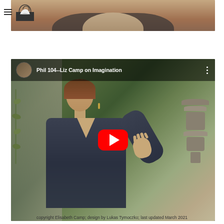Navigation menu and site logo
[Figure (screenshot): Top portion of a webpage showing a video thumbnail of a person outdoors]
[Figure (screenshot): YouTube video embed titled 'Phil 104--Liz Camp on Imagination' showing a woman gesturing outdoors near a stone pagoda with a YouTube play button overlay]
copyright Elisabeth Camp; design by Lukas Tymoczko; last updated March 2021